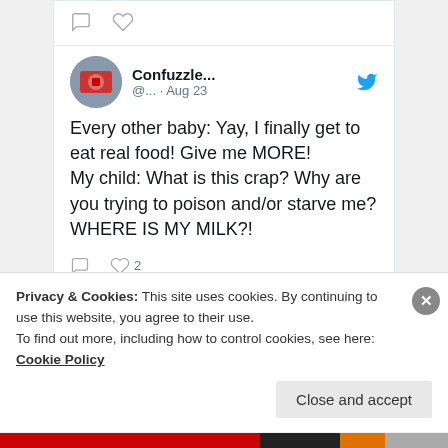[Figure (screenshot): Top part of a tweet card showing comment and heart icons (partially visible)]
[Figure (screenshot): Tweet by Confuzzle... (@...) on Aug 23 with Twitter bird logo, avatar photo, and tweet text: Every other baby: Yay, I finally get to eat real food! Give me MORE! My child: What is this crap? Why are you trying to poison and/or starve me? WHERE IS MY MILK?!]
Privacy & Cookies: This site uses cookies. By continuing to use this website, you agree to their use.
To find out more, including how to control cookies, see here: Cookie Policy
Close and accept